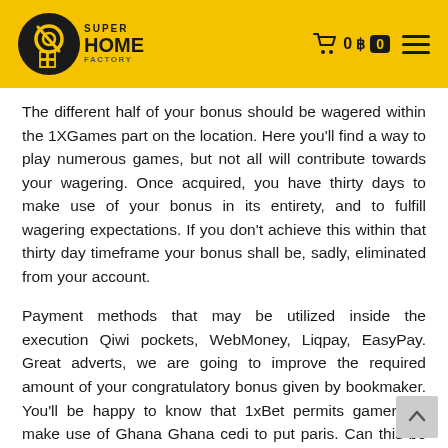SuperHome Factory — navigation header with cart and menu
The different half of your bonus should be wagered within the 1XGames part on the location. Here you'll find a way to play numerous games, but not all will contribute towards your wagering. Once acquired, you have thirty days to make use of your bonus in its entirety, and to fulfill wagering expectations. If you don't achieve this within that thirty day timeframe your bonus shall be, sadly, eliminated from your account.
Payment methods that may be utilized inside the execution Qiwi pockets, WebMoney, Liqpay, EasyPay. Great adverts, we are going to improve the required amount of your congratulatory bonus given by bookmaker. You'll be happy to know that 1xBet permits gamers to make use of Ghana Ghana cedi to put paris. Can this be actually that extreme, determining the technicalities is